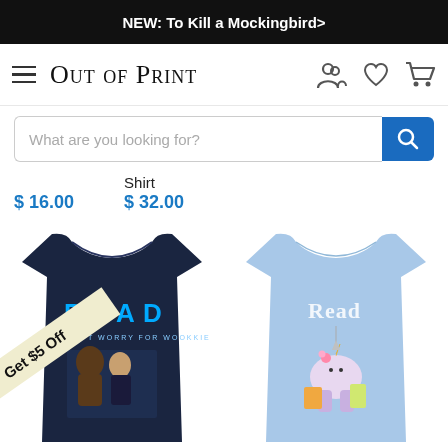NEW: To Kill a Mockingbird>
Out of Print
What are you looking for?
$ 16.00
Shirt
$ 32.00
[Figure (photo): Dark navy t-shirt with 'READ' text in blue and Star Wars (Han Solo and Chewbacca) graphic]
Get $5 Off
[Figure (photo): Light blue t-shirt with 'Read' text and cartoon unicorn/llama reading books graphic]